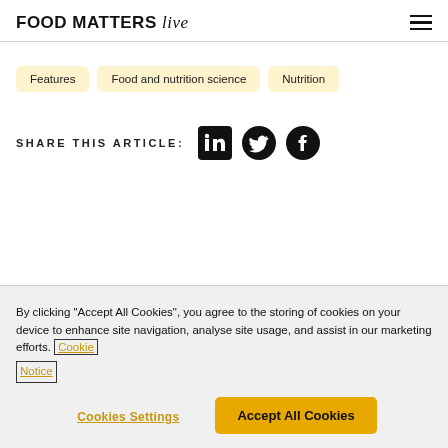FOOD MATTERS live
Features
Food and nutrition science
Nutrition
SHARE THIS ARTICLE:
[Figure (infographic): Social share icons: LinkedIn, Twitter, Facebook]
By clicking "Accept All Cookies", you agree to the storing of cookies on your device to enhance site navigation, analyse site usage, and assist in our marketing efforts. Cookie Notice
Cookies Settings
Accept All Cookies